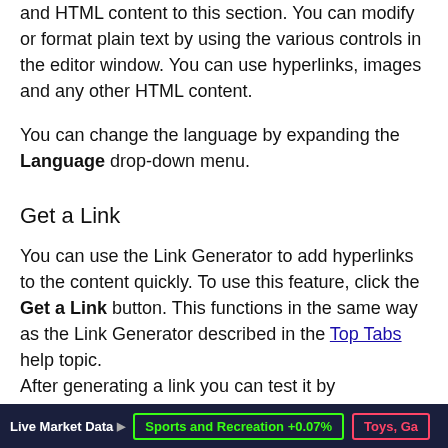and HTML content to this section. You can modify or format plain text by using the various controls in the editor window. You can use hyperlinks, images and any other HTML content.
You can change the language by expanding the Language drop-down menu.
Get a Link
You can use the Link Generator to add hyperlinks to the content quickly. To use this feature, click the Get a Link button. This functions in the same way as the Link Generator described in the Top Tabs help topic. After generating a link you can test it by
Live Market Data | Sports and Recreation +0.07% | Toys, Ga...